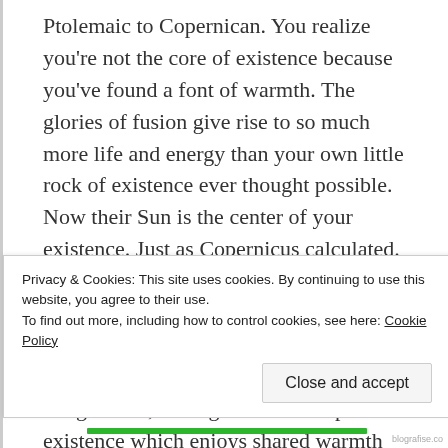Ptolemaic to Copernican. You realize you're not the core of existence because you've found a font of warmth. The glories of fusion give rise to so much more life and energy than your own little rock of existence ever thought possible. Now their Sun is the center of your existence. Just as Copernicus calculated. And thanks to a very special relativity they see you as the same. So instead of orbiting each other you're both orbiting a shared barycenter, a beautiful point of imagination, a thing with no independent existence which enjoys shared warmth between
Privacy & Cookies: This site uses cookies. By continuing to use this website, you agree to their use.
To find out more, including how to control cookies, see here: Cookie Policy
Close and accept